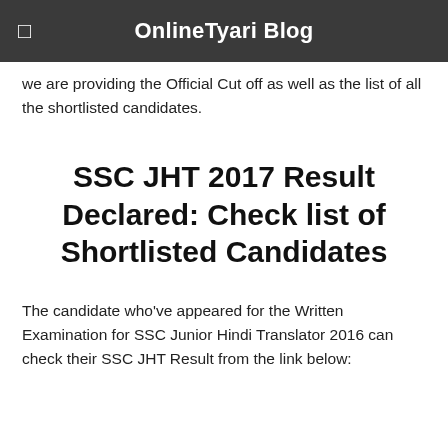OnlineTyari Blog
we are providing the Official Cut off as well as the list of all the shortlisted candidates.
SSC JHT 2017 Result Declared: Check list of Shortlisted Candidates
The candidate who've appeared for the Written Examination for SSC Junior Hindi Translator 2016 can check their SSC JHT Result from the link below: